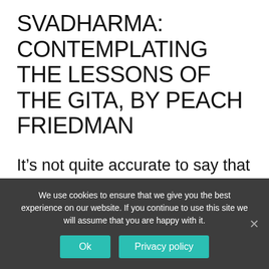SVADHARMA: CONTEMPLATING THE LESSONS OF THE GITA, BY PEACH FRIEDMAN
It’s not quite accurate to say that I’ve been studying the Bhagavad Gita again this season, because working with this text really feels like living with it. My process of even beginning to understand the layers of meaning and
We use cookies to ensure that we give you the best experience on our website. If you continue to use this site we will assume that you are happy with it.